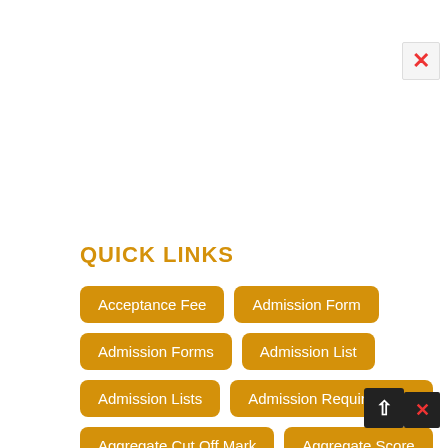QUICK LINKS
Acceptance Fee
Admission Form
Admission Forms
Admission List
Admission Lists
Admission Requirements
Aggregate Cut Off Mark
Aggregate Score